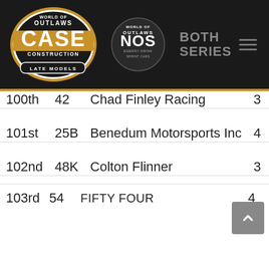[Figure (logo): World of Outlaws CASE Construction Late Models and NOS Energy Drink Sprint Cars logos with BOTH SERIES navigation header bar]
| Rank | Car | Team | Col1 | Col2 |
| --- | --- | --- | --- | --- |
| 100th | 42 | Chad Finley Racing | 3 | 3 |
| 101st | 25B | Benedum Motorsports Inc | 4 | 1 |
| 102nd | 48K | Colton Flinner | 3 | 3 |
| 103rd | 54 | FIFTY FOUR | 4 |  |